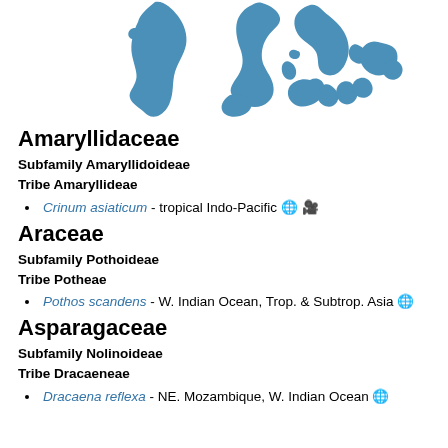[Figure (map): World map with blue highlighted regions showing tropical distribution — South America, Africa, South/Southeast Asia, and Australia coastal areas highlighted in blue.]
Amaryllidaceae
Subfamily Amaryllidoideae
Tribe Amaryllideae
Crinum asiaticum - tropical Indo-Pacific 🌐 📷
Araceae
Subfamily Pothoideae
Tribe Potheae
Pothos scandens - W. Indian Ocean, Trop. & Subtrop. Asia 🌐
Asparagaceae
Subfamily Nolinoideae
Tribe Dracaeneae
Dracaena reflexa - NE. Mozambique, W. Indian Ocean 🌐